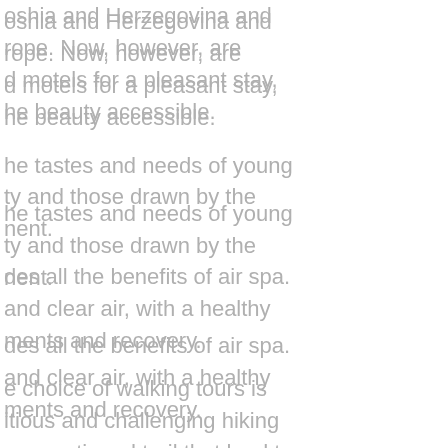oshia and Herzegovina and rope. Now, however, are d motels for a pleasant stay, he beauty accessible.
he tastes and needs of young ty and those drawn by the nent.
des all the benefits of air spa. and clear air, with a healthy ments and recovery.
e choice of walking tours is itious and challenging hiking ve mentioned trail that lead to here are also other directions . to Šljivovica, Ćirilovac and neters, whatever road you take, es, mountain springs, sights of Komovi, Sinjavina.
ther cultural and historical